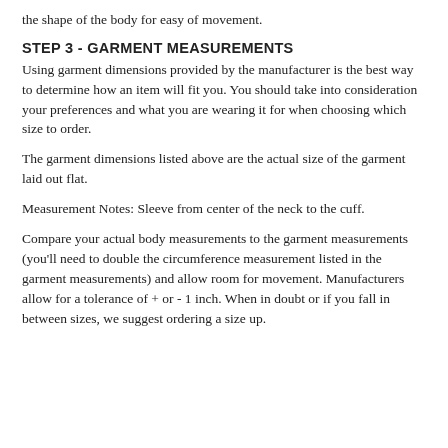the shape of the body for easy of movement.
STEP 3 - GARMENT MEASUREMENTS
Using garment dimensions provided by the manufacturer is the best way to determine how an item will fit you. You should take into consideration your preferences and what you are wearing it for when choosing which size to order.
The garment dimensions listed above are the actual size of the garment laid out flat.
Measurement Notes: Sleeve from center of the neck to the cuff.
Compare your actual body measurements to the garment measurements (you'll need to double the circumference measurement listed in the garment measurements) and allow room for movement. Manufacturers allow for a tolerance of + or - 1 inch. When in doubt or if you fall in between sizes, we suggest ordering a size up.